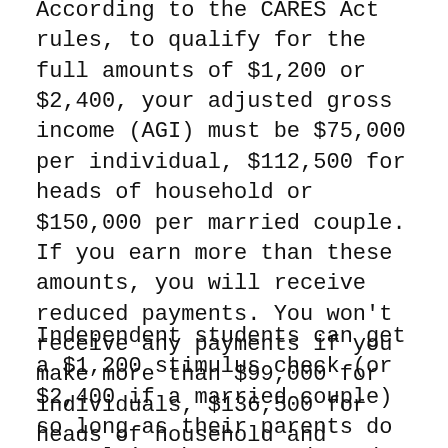According to the CARES Act rules, to qualify for the full amounts of $1,200 or $2,400, your adjusted gross income (AGI) must be $75,000 per individual, $112,500 for heads of household or $150,000 per married couple. If you earn more than these amounts, you will receive reduced payments. You won't receive any payments if you make more than $99,000 for individuals, $136,500 for heads of household and $198,000. Some people are experiencing delays in receiving stimulus checks.
Independent students can get a $1,200 stimulus check (or $2,400 if a married couple) so long as their parents do not claim them as a dependent and their AGI is $75,000 or lower. The CARE Act indicates that they will get a check before it will...